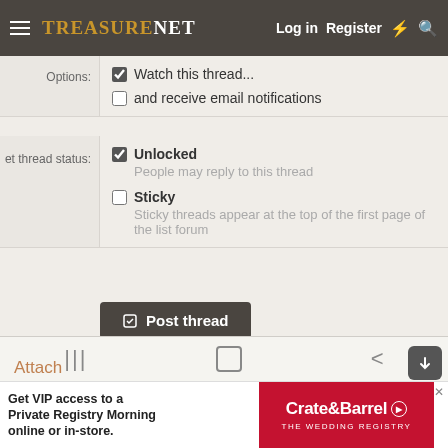TreasureNet — Log in | Register
Options: Watch this thread... and receive email notifications
Set thread status: Unlocked — People may reply to this thread
Sticky — Sticky threads appear at the top of the first page of the list forum
Post thread
when you have completed your post hit save, once you hit save post or thread will be posted on the forum.
[Figure (screenshot): Advertisement banner: Get VIP access to a Private Registry Morning online or in-store. Crate & Barrel THE WEDDING REGISTRY]